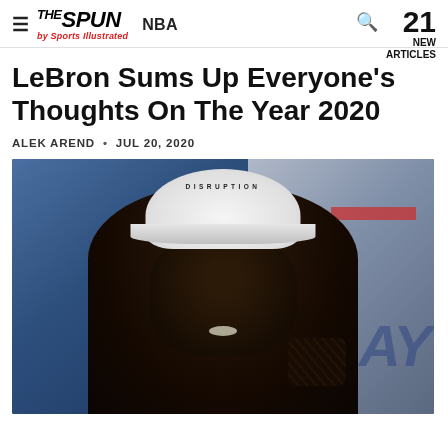THE SPUN by Sports Illustrated  NBA  🔍  21 NEW ARTICLES
LeBron Sums Up Everyone's Thoughts On The Year 2020
ALEK AREND • JUL 20, 2020
[Figure (photo): Close-up photo of LeBron James wearing a white cap, looking upward with mouth open, against a blue backdrop with partial signage visible in background.]